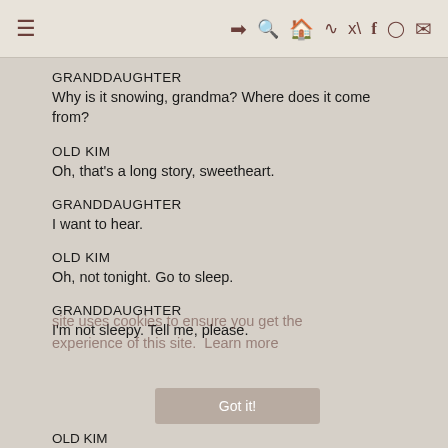≡  ➜ 🔍 🏠 ≋ 🐦 f 📷 ✉
GRANDDAUGHTER
Why is it snowing, grandma? Where does it come
from?
OLD KIM
Oh, that's a long story, sweetheart.
GRANDDAUGHTER
I want to hear.
OLD KIM
Oh, not tonight. Go to sleep.
GRANDDAUGHTER
I'm not sleepy. Tell me, please.
OLD KIM